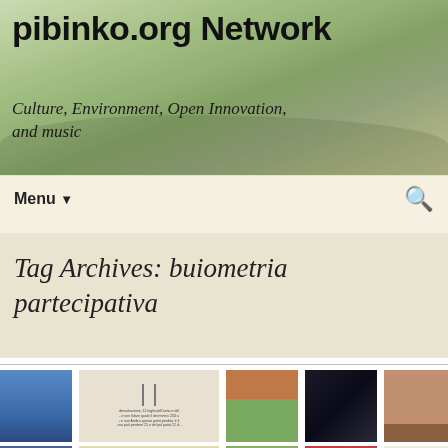pibinko.org Network
Culture, Environment, Open Innovation, and music
Menu ▼
Tag Archives: buiometria partecipativa
[Figure (photo): Grid of thumbnail images related to buiometria partecipativa tag archive, showing various photos and event posters in two rows]